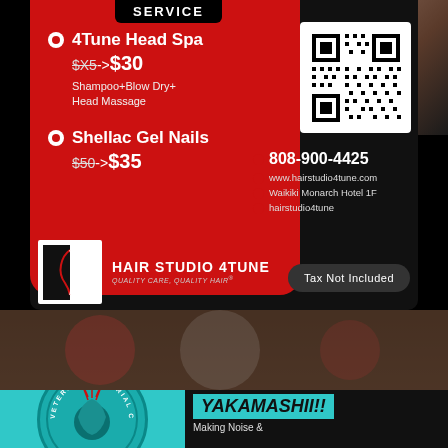Service
4Tune Head Spa $X5->$30 Shampoo+Blow Dry+ Head Massage
Shellac Gel Nails $50->$35
[Figure (other): QR code for Hair Studio 4Tune]
808-900-4425
www.hairstudio4tune.com
Waikiki Monarch Hotel 1F
hairstudio4tune
[Figure (logo): Hair Studio 4Tune logo with scissors]
HAIR STUDIO 4TUNE QUALITY CARE, QUALITY HAIR
Tax Not Included
[Figure (photo): Faded background photo with cultural/patriotic imagery]
[Figure (logo): Veterans Memorial Center circular logo with teal background]
YAKAMASHII!!
Making Noise &